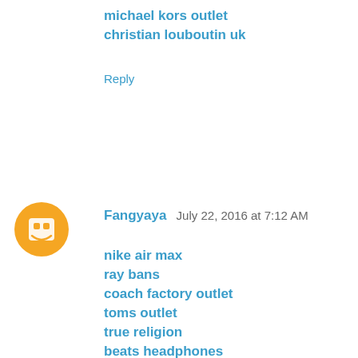michael kors outlet
christian louboutin uk
Reply
Fangyaya  July 22, 2016 at 7:12 AM
nike air max
ray bans
coach factory outlet
toms outlet
true religion
beats headphones
michael kors outlet
michael kors outlet
hermes outlet
polo ralph lauren
air jordan retro
fitflops sale clearance
longchamp handbags
cheap jordan shoes
ghd flat iron